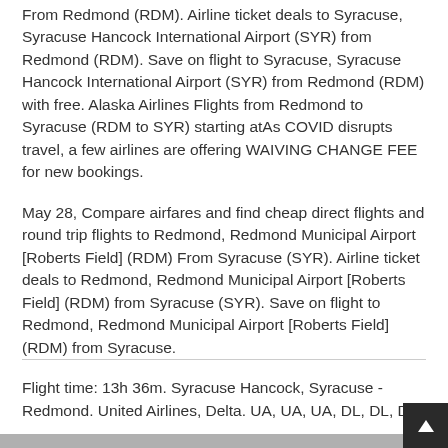From Redmond (RDM). Airline ticket deals to Syracuse, Syracuse Hancock International Airport (SYR) from Redmond (RDM). Save on flight to Syracuse, Syracuse Hancock International Airport (SYR) from Redmond (RDM) with free. Alaska Airlines Flights from Redmond to Syracuse (RDM to SYR) starting atAs COVID disrupts travel, a few airlines are offering WAIVING CHANGE FEE for new bookings.
May 28, Compare airfares and find cheap direct flights and round trip flights to Redmond, Redmond Municipal Airport [Roberts Field] (RDM) From Syracuse (SYR). Airline ticket deals to Redmond, Redmond Municipal Airport [Roberts Field] (RDM) from Syracuse (SYR). Save on flight to Redmond, Redmond Municipal Airport [Roberts Field] (RDM) from Syracuse.
Flight time: 13h 36m. Syracuse Hancock, Syracuse - Redmond. United Airlines, Delta. UA, UA, UA, DL, DL, DL